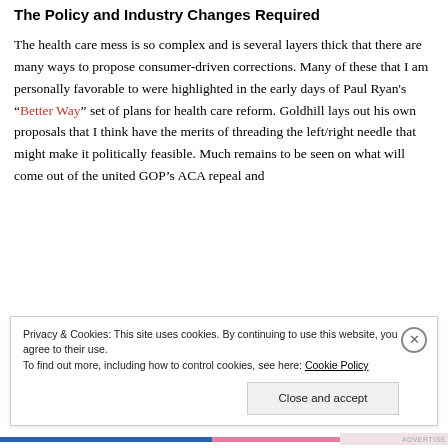The Policy and Industry Changes Required
The health care mess is so complex and is several layers thick that there are many ways to propose consumer-driven corrections. Many of these that I am personally favorable to were highlighted in the early days of Paul Ryan's “Better Way” set of plans for health care reform. Goldhill lays out his own proposals that I think have the merits of threading the left/right needle that might make it politically feasible. Much remains to be seen on what will come out of the united GOP’s ACA repeal and
Privacy & Cookies: This site uses cookies. By continuing to use this website, you agree to their use.
To find out more, including how to control cookies, see here: Cookie Policy
Close and accept